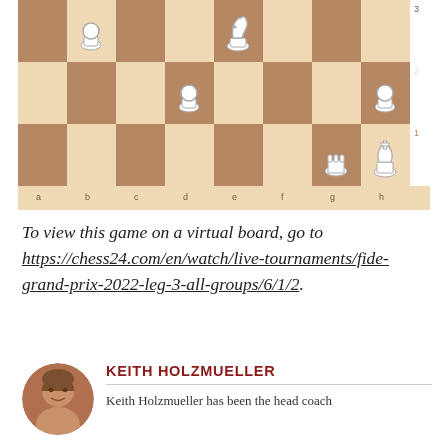[Figure (other): Chess board position showing white pieces: pawn on b3, pawn on d2, knight on e3, pawn on h2, rook on g1, king on h1. Board shows ranks 1-3 and files a-h with coordinate labels.]
To view this game on a virtual board, go to https://chess24.com/en/watch/live-tournaments/fide-grand-prix-2022-leg-3-all-groups/6/1/2.
[Figure (photo): Circular portrait photo of Keith Holzmueller, an older man with gray hair.]
KEITH HOLZMUELLER
Keith Holzmueller has been the head coach